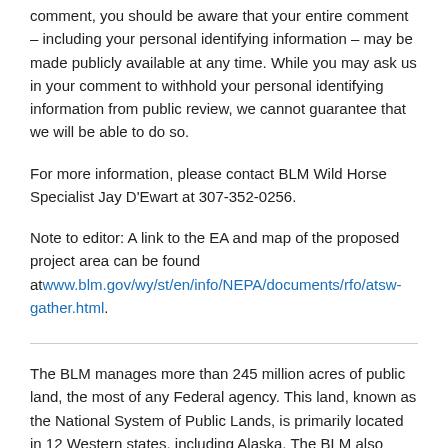comment, you should be aware that your entire comment – including your personal identifying information – may be made publicly available at any time. While you may ask us in your comment to withhold your personal identifying information from public review, we cannot guarantee that we will be able to do so.
For more information, please contact BLM Wild Horse Specialist Jay D'Ewart at 307-352-0256.
Note to editor: A link to the EA and map of the proposed project area can be found at www.blm.gov/wy/st/en/info/NEPA/documents/rfo/atsw-gather.html.
The BLM manages more than 245 million acres of public land, the most of any Federal agency. This land, known as the National System of Public Lands, is primarily located in 12 Western states, including Alaska. The BLM also administers 700 million acres of sub-surface mineral estate throughout the nation. In Fiscal Year (FY)